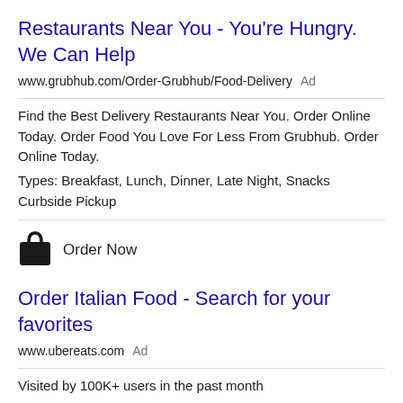Restaurants Near You - You're Hungry. We Can Help
www.grubhub.com/Order-Grubhub/Food-Delivery  Ad
Find the Best Delivery Restaurants Near You. Order Online Today. Order Food You Love For Less From Grubhub. Order Online Today.
Types: Breakfast, Lunch, Dinner, Late Night, Snacks
Curbside Pickup
Order Now
Order Italian Food - Search for your favorites
www.ubereats.com  Ad
Visited by 100K+ users in the past month
Discover Delivery Restaurants near you. From street food to fine dining, with Uber Eats you can order exactly what you fancy.
Service you love · Order to your door
Styles: Dinner, Lunch, Snacks, Brunch, Fast Food, Drinks, Desserts, Smoothies, Healthy